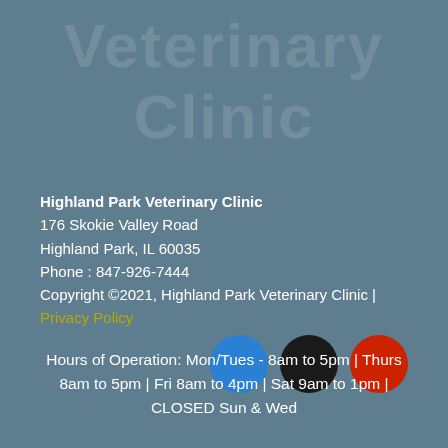[Figure (illustration): Faint watermark text reading 'Veterinary Clinic' in large semi-transparent white letters across the upper portion of the page]
Highland Park Veterinary Clinic
176 Skokie Valley Road
Highland Park, IL 60035
Phone : 847-926-7444
Copyright ©2021, Highland Park Veterinary Clinic | Privacy Policy
[Figure (illustration): Three colored circles in a row: blue, black, and red]
Hours of Operation: Mon/Tues - 8am to 5pm | Thurs 8am to 5pm | Fri 8am to 4pm | Sat 9am to 1pm | CLOSED Sun & Wed